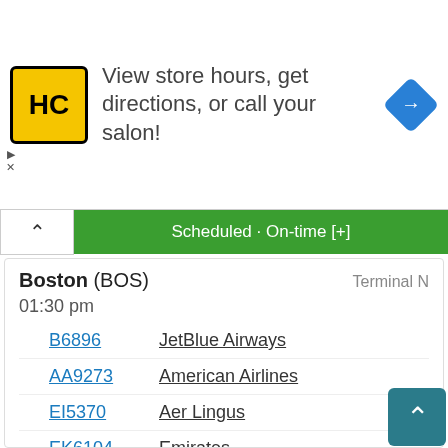[Figure (other): Advertisement banner: HC logo (yellow/black), text 'View store hours, get directions, or call your salon!', blue diamond arrow icon on right]
Scheduled · On-time [+]
| City | Terminal |
| --- | --- |
| Boston (BOS) | Terminal N |
| 01:30 pm |  |
| B6896 | JetBlue Airways |
| AA9273 | American Airlines |
| EI5370 | Aer Lingus |
| EK6104 | Emirates |
| FI7902 | Icelandair |
| HA2390 | Hawaiian Airlines |
| QR3812 | Qatar Airways |
| TK8571 | Turkish Airlines |
| TP4460 | TAP Air Portugal |